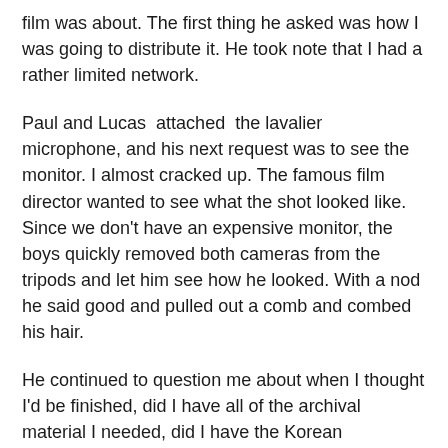film was about. The first thing he asked was how I was going to distribute it. He took note that I had a rather limited network.
Paul and Lucas attached the lavalier microphone, and his next request was to see the monitor. I almost cracked up. The famous film director wanted to see what the shot looked like. Since we don't have an expensive monitor, the boys quickly removed both cameras from the tripods and let him see how he looked. With a nod he said good and pulled out a comb and combed his hair.
He continued to question me about when I thought I'd be finished, did I have all of the archival material I needed, did I have the Korean interviews, etc. I told him the only thing keeping me from completing the film in one month's time was money to pay Paul and Lucas to do the post-production editing. He was focused like a laser.
“Oh, let’s do it,” he said. “If I don’t get what you want, we’ll do it